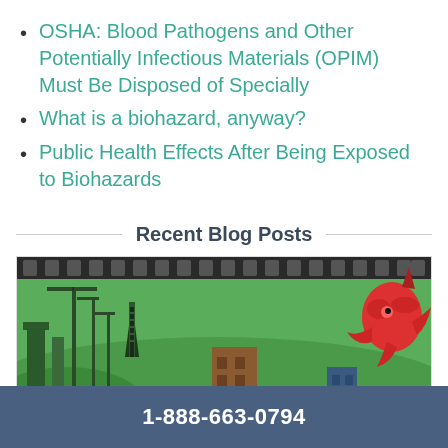OSHA: Blood Pathogens and Other Potentially Infectious Materials (OPIM) Must Be Disposed of Specially
What is a biohazard, anyway?
Public Health Effects After Being Exposed to Biohazards
Recent Blog Posts
[Figure (illustration): Cartoon illustration of an industrial/urban scene with green background, construction cranes, buildings, and a red creature/figure on the right side, with a film strip border at the top]
1-888-663-0794